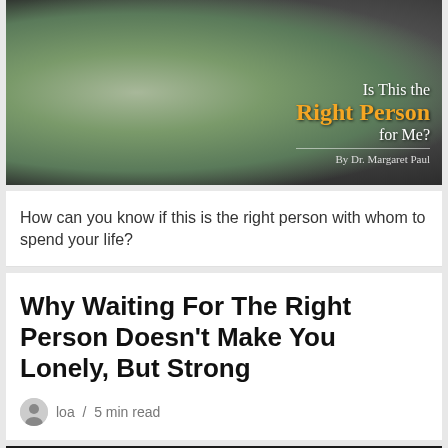[Figure (photo): Couple facing each other closely about to kiss, woman wearing knit hat, outdoors. Overlay text reads 'Is This the Right Person for Me? By Dr. Margaret Paul']
How can you know if this is the right person with whom to spend your life?
Why Waiting For The Right Person Doesn't Make You Lonely, But Strong
loa  /  5 min read
[Figure (photo): Partial photo of a woman with blonde hair, cropped at bottom of page]